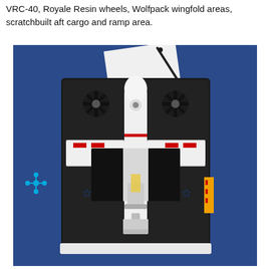VRC-40, Royale Resin wheels, Wolfpack wingfold areas, scratchbuilt aft cargo and ramp area.
[Figure (photo): Top-down photograph of a white scale model aircraft (appears to be a C-2 Greyhound or similar), with wings folded, displayed on a black base/platform. The model shows detailed underside with landing gear, cargo bay open, and red/yellow markings. The base sits on a blue surface. A small blue molecular/snowflake decoration is visible to the left of the base. A pen and white paper are visible in the background upper right.]